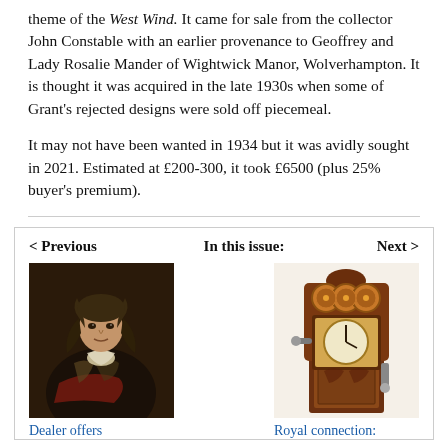theme of the West Wind. It came for sale from the collector John Constable with an earlier provenance to Geoffrey and Lady Rosalie Mander of Wightwick Manor, Wolverhampton. It is thought it was acquired in the late 1930s when some of Grant's rejected designs were sold off piecemeal.
It may not have been wanted in 1934 but it was avidly sought in 2021. Estimated at £200-300, it took £6500 (plus 25% buyer's premium).
[Figure (photo): Portrait painting of a man in 17th century armor and clothing with long hair, against a dark background]
Dealer offers
[Figure (photo): An ornate antique mechanical device or music box with decorative carved woodwork and metal fittings]
Royal connection: